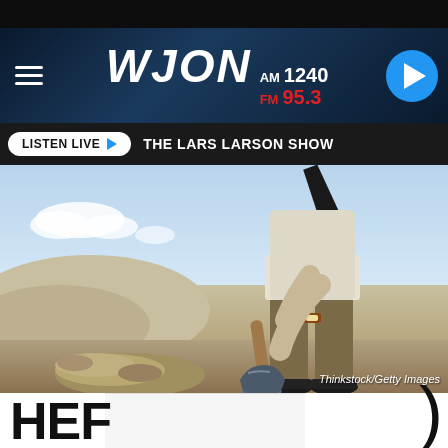WJON AM 1240 FM 95.3
LISTEN LIVE ▶  THE LARS LARSON SHOW
[Figure (photo): Person wearing khaki pants, dress shoes, and a loosened tie, standing in sandy desert landscape holding a shovel with a pile of dug-up sand nearby. Photo credit: Thinkstock/Getty Images.]
HEF